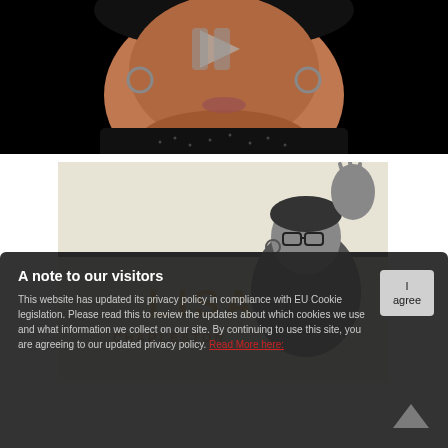[Figure (photo): Video thumbnail showing a woman's face close-up on a dark/black background with a play button overlay. The woman is wearing hoop earrings and a dark sparkly top.]
[Figure (photo): Black and white photo of a woman named Lisa Charleston. She is wearing glasses and a dark dotted top, with one hand raised. The image has a light beige/cream background with her name 'LISA' in large gold letters and 'CHARLESTON' below in gold letters.]
A note to our visitors
This website has updated its privacy policy in compliance with EU Cookie legislation. Please read this to review the updates about which cookies we use and what information we collect on our site. By continuing to use this site, you are agreeing to our updated privacy policy. Read More here: